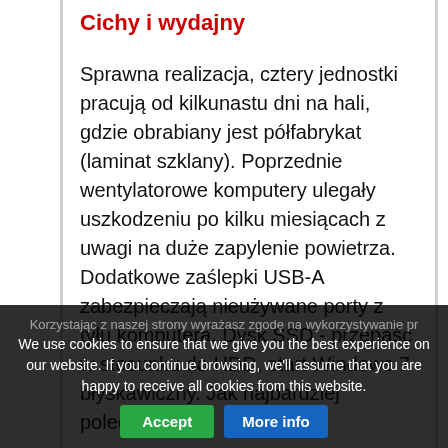Cichy i wydajny
Sprawna realizacja, cztery jednostki pracują od kilkunastu dni na hali, gdzie obrabiany jest półfabrykat (laminat szklany). Poprzednie wentylatorowe komputery ulegały uszkodzeniu po kilku miesiącach z uwagi na duże zapylenie powietrza. Dodatkowe zaślepki USB-A zabezpieczają nieużywane porty z tyłu komputera. Dysk SSD - przepaść w stosunku do HDD, start Windows 7 błyskawiczny. Jak najbardziej polecamy.
Korzystając z naszej strony wyrażasz zgodę na wykorzystywanie pr…
We use cookies to ensure that we give you the best experience on our website. If you continue browsing, we'll assume that you are happy to receive all cookies from this website.